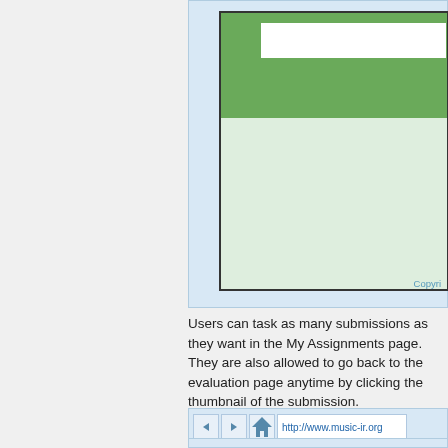[Figure (screenshot): Partial screenshot of a web application showing a green header with a white search bar and a light green body area. Copyright text visible at bottom right.]
Users can task as many submissions as they want in the My Assignments page. They are also allowed to go back to the evaluation page anytime by clicking the thumbnail of the submission.
[Figure (screenshot): Partial browser toolbar showing back, forward, home navigation buttons and URL bar with http://www.music-ir.org]